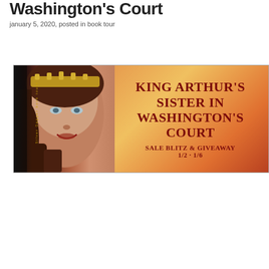Washington's Court
january 5, 2020, posted in book tour
[Figure (illustration): Book tour banner for 'King Arthur's Sister in Washington's Court' - Sale Blitz & Giveaway 1/2-1/6. Shows a woman with auburn hair and gold headpiece against an orange background, with dark red serif title text.]
[Figure (illustration): Book cover for 'King Arthur's Sister in Washington's Court'. Shows a woman with auburn curly hair and gold chain headpiece against an orange/fiery background, with dark red serif title text and an obelisk visible in the background.]